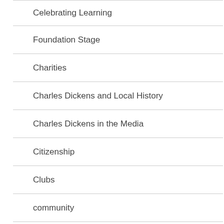Celebrating Learning
Foundation Stage
Charities
Charles Dickens and Local History
Charles Dickens in the Media
Citizenship
Clubs
community
Competitions